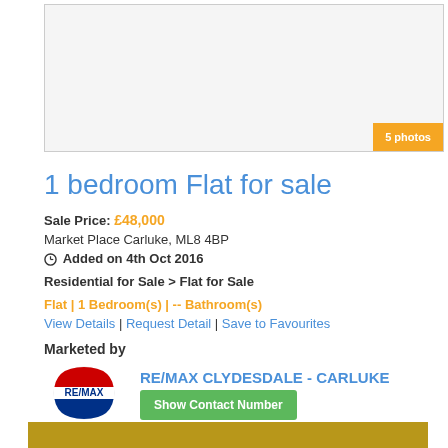[Figure (photo): Property photo placeholder with '5 photos' badge in orange bottom-right corner]
1 bedroom Flat for sale
Sale Price: £48,000
Market Place Carluke, ML8 4BP
Added on 4th Oct 2016
Residential for Sale > Flat for Sale
Flat | 1 Bedroom(s) | -- Bathroom(s)
View Details | Request Detail | Save to Favourites
Marketed by
[Figure (logo): RE/MAX logo — red, white and blue circular balloon design]
RE/MAX CLYDESDALE - CARLUKE
Show Contact Number
*When you call don't forget to mention Overstreet.co.uk